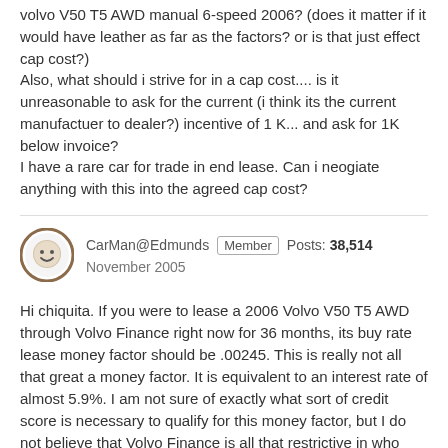volvo V50 T5 AWD manual 6-speed 2006? (does it matter if it would have leather as far as the factors? or is that just effect cap cost?)
Also, what should i strive for in a cap cost.... is it unreasonable to ask for the current (i think its the current manufactuer to dealer?) incentive of 1 K... and ask for 1K below invoice?
I have a rare car for trade in end lease. Can i neogiate anything with this into the agreed cap cost?
CarMan@Edmunds | Member | Posts: 38,514
November 2005
Hi chiquita. If you were to lease a 2006 Volvo V50 T5 AWD through Volvo Finance right now for 36 months, its buy rate lease money factor should be .00245. This is really not all that great a money factor. It is equivalent to an interest rate of almost 5.9%. I am not sure of exactly what sort of credit score is necessary to qualify for this money factor, but I do not believe that Volvo Finance is all that restrictive in who they allow to use it. You should be able to take advantage of it